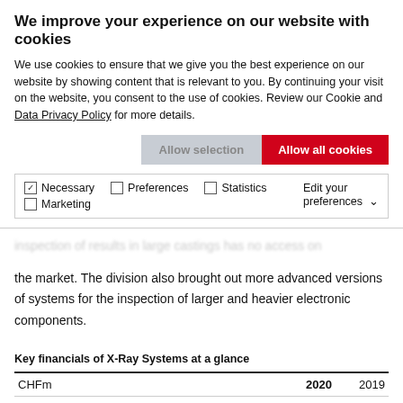We improve your experience on our website with cookies
We use cookies to ensure that we give you the best experience on our website by showing content that is relevant to you. By continuing your visit on the website, you consent to the use of cookies. Review our Cookie and Data Privacy Policy for more details.
[Allow selection button] [Allow all cookies button]
✓ Necessary  □ Preferences  □ Statistics  □ Marketing | Edit your preferences ∨
inspection of... the market. The division also brought out more advanced versions of systems for the inspection of larger and heavier electronic components.
Key financials of X-Ray Systems at a glance
| CHFm | 2020 | 2019 |
| --- | --- | --- |
| Net sales | 106.8 | 139.6 |
| EBITDA | (1.0) | 12.0 |
| EBITDA margin | – 0.9% | 8.6% |
| Number of employees worldwide | 431 | 439 |